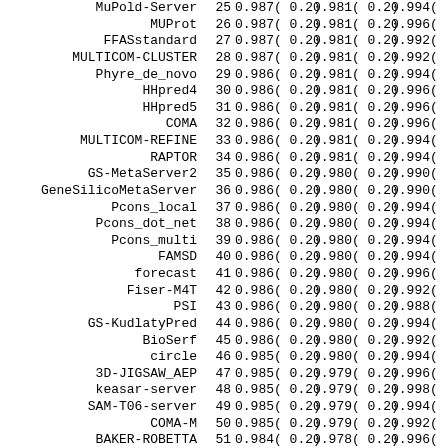| Server | Rank | Col1 | Col2 | Col3 |
| --- | --- | --- | --- | --- |
| MuPred-Server | 25 | 0.987( 0.2) | 0.981( 0.2) | 0.994( |
| MUProt | 26 | 0.987( 0.2) | 0.981( 0.2) | 0.996( |
| FFASstandard | 27 | 0.987( 0.2) | 0.981( 0.2) | 0.992( |
| MULTICOM-CLUSTER | 28 | 0.987( 0.2) | 0.981( 0.2) | 0.992( |
| Phyre_de_novo | 29 | 0.986( 0.2) | 0.981( 0.2) | 0.994( |
| HHpred4 | 30 | 0.986( 0.2) | 0.981( 0.2) | 0.996( |
| HHpred5 | 31 | 0.986( 0.2) | 0.981( 0.2) | 0.996( |
| COMA | 32 | 0.986( 0.2) | 0.981( 0.2) | 0.996( |
| MULTICOM-REFINE | 33 | 0.986( 0.2) | 0.981( 0.2) | 0.994( |
| RAPTOR | 34 | 0.986( 0.2) | 0.981( 0.2) | 0.994( |
| GS-MetaServer2 | 35 | 0.986( 0.2) | 0.980( 0.2) | 0.990( |
| GeneSilicoMetaServer | 36 | 0.986( 0.2) | 0.980( 0.2) | 0.990( |
| Pcons_local | 37 | 0.986( 0.2) | 0.980( 0.2) | 0.994( |
| Pcons_dot_net | 38 | 0.986( 0.2) | 0.980( 0.2) | 0.994( |
| Pcons_multi | 39 | 0.986( 0.2) | 0.980( 0.2) | 0.994( |
| FAMSD | 40 | 0.986( 0.2) | 0.980( 0.2) | 0.994( |
| forecast | 41 | 0.986( 0.2) | 0.980( 0.2) | 0.996( |
| Fiser-M4T | 42 | 0.986( 0.2) | 0.980( 0.2) | 0.992( |
| PSI | 43 | 0.986( 0.2) | 0.980( 0.2) | 0.988( |
| GS-KudlatyPred | 44 | 0.986( 0.2) | 0.980( 0.2) | 0.994( |
| BioSerf | 45 | 0.986( 0.2) | 0.980( 0.2) | 0.992( |
| circle | 46 | 0.985( 0.2) | 0.980( 0.2) | 0.994( |
| 3D-JIGSAW_AEP | 47 | 0.985( 0.2) | 0.979( 0.2) | 0.996( |
| keasar-server | 48 | 0.985( 0.2) | 0.979( 0.2) | 0.998( |
| SAM-T06-server | 49 | 0.985( 0.2) | 0.979( 0.2) | 0.994( |
| COMA-M | 50 | 0.985( 0.2) | 0.979( 0.2) | 0.992( |
| BAKER-ROBETTA | 51 | 0.984( 0.2) | 0.978( 0.2) | 0.996( |
| FUGUE_KM | 52 | 0.983( 0.2) | 0.977( 0.2) | 0.996( |
| FALCON_CONSENSUS | 53 | 0.983( 0.2) | 0.977( 0.2) | 0.992( |
| FALCON | 54 | 0.983( 0.2) | 0.977( 0.2) | 0.992( |
| ACOMPMOD | 55 | 0.983( 0.2) | 0.976( 0.2) | 0.994( |